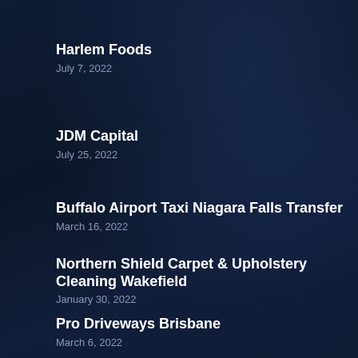Harlem Foods
July 7, 2022
JDM Capital
July 25, 2022
Buffalo Airport Taxi Niagara Falls Transfer
March 16, 2022
Northern Shield Carpet & Upholstery Cleaning Wakefield
January 30, 2022
Pro Driveways Brisbane
March 6, 2022